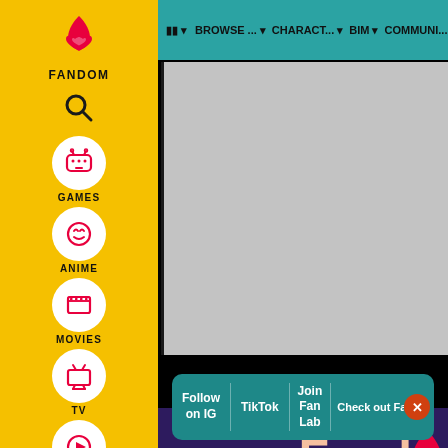[Figure (screenshot): Fandom website sidebar navigation with yellow background showing Fandom logo, search icon, Games, Anime, Movies, TV, Video categories with pink icons on white circles]
MM ▾   BROWSE... ▾   CHARACT... ▾   BIM ▾   COMMUNI...
[Figure (screenshot): Gray content area (advertisement placeholder) followed by black strip, then purple Fandom branding section]
Fand
Follow on IG   TikTok   Join Fan Lab   Check out Fandom Quizzes and cha